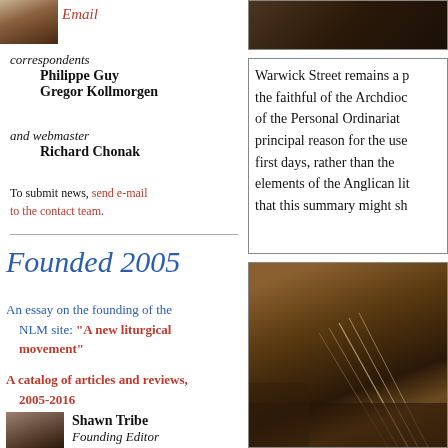[Figure (photo): Top left partial photo of a person with a tie, cropped]
Email
correspondents
    Philippe Guy
    Gregor Kollmorgen
and webmaster
    Richard Chonak
To submit news, send e-mail to the contact team.
[Figure (photo): Top right dark photo, appears to be interior/books]
Warwick Street remains a p... the faithful of the Archdioc... of the Personal Ordinariat... principal reason for the use... first days, rather than the... elements of the Anglican lit... that this summary might sh...
Founded 2005
An essay on the founding of the NLM site: "A new liturgical movement"
A catalog of articles and reviews, 2005-2016
[Figure (photo): Small headshot of Shawn Tribe, Founding Editor]
Shawn Tribe
Founding Editor
[Figure (photo): Bottom right large dark photo showing what appears to be wooden pews or an interior with strings]